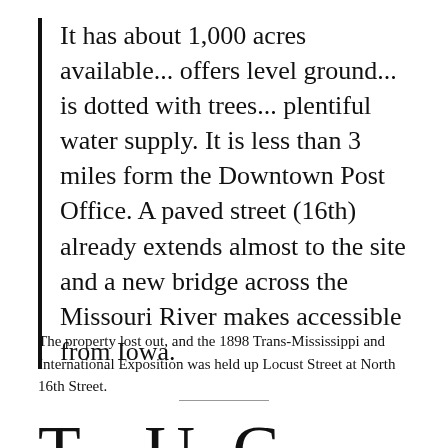It has about 1,000 acres available... offers level ground... is dotted with trees... plentiful water supply. It is less than 3 miles form the Downtown Post Office. A paved street (16th) already extends almost to the site and a new bridge across the Missouri River makes accessible from Iowa.
The property lost out, and the 1898 Trans-Mississippi and International Exposition was held up Locust Street at North 16th Street.
T   U S C